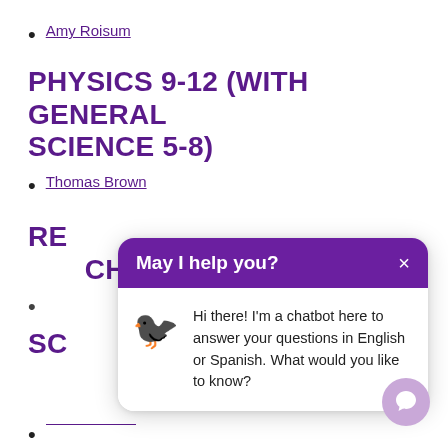Amy Roisum
PHYSICS 9-12 (WITH GENERAL SCIENCE 5-8)
Thomas Brown
REA...CHER)
[Figure (screenshot): Chatbot popup with purple header saying 'May I help you?' with close button X, and a body showing a bird emoji chatbot icon with text: 'Hi there! I'm a chatbot here to answer your questions in English or Spanish. What would you like to know?']
SC
(partially visible bulleted item)